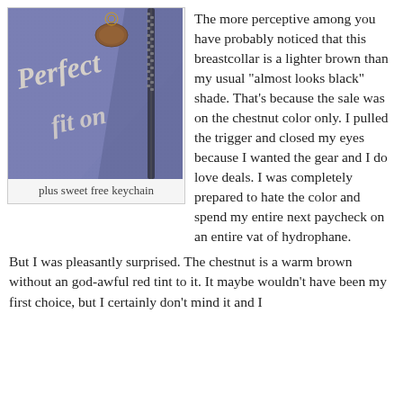[Figure (photo): Close-up photo of a blue/purple textured leather or fabric item with cursive script text that reads 'Perfect fit' and a brown oval keychain fob with a gold ring attached near a zipper]
plus sweet free keychain
The more perceptive among you have probably noticed that this breastcollar is a lighter brown than my usual "almost looks black" shade. That's because the sale was on the chestnut color only. I pulled the trigger and closed my eyes because I wanted the gear and I do love deals. I was completely prepared to hate the color and spend my entire next paycheck on an entire vat of hydrophane.
But I was pleasantly surprised. The chestnut is a warm brown without an god-awful red tint to it. It maybe wouldn't have been my first choice, but I certainly don't mind it and I